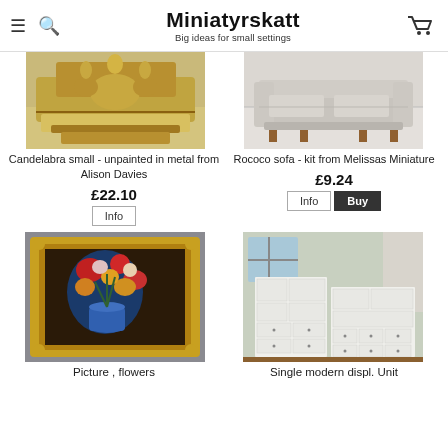Miniatyrskatt — Big ideas for small settings
[Figure (photo): Candelabra small miniature, gold/metal, top-cropped view]
Candelabra small - unpainted in metal from Alison Davies
£22.10
[Figure (photo): Rococo sofa kit from Melissas Miniature, pale grey/white, side view]
Rococo sofa - kit from Melissas Miniature
£9.24
[Figure (photo): Miniature painting in ornate gold frame, flowers in blue vase]
Picture , flowers
[Figure (photo): Single modern display unit, white modular shelving with drawers]
Single modern displ. Unit